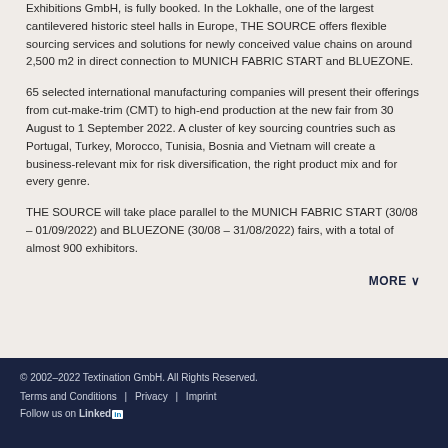Exhibitions GmbH, is fully booked. In the Lokhalle, one of the largest cantilevered historic steel halls in Europe, THE SOURCE offers flexible sourcing services and solutions for newly conceived value chains on around 2,500 m2 in direct connection to MUNICH FABRIC START and BLUEZONE.
65 selected international manufacturing companies will present their offerings from cut-make-trim (CMT) to high-end production at the new fair from 30 August to 1 September 2022. A cluster of key sourcing countries such as Portugal, Turkey, Morocco, Tunisia, Bosnia and Vietnam will create a business-relevant mix for risk diversification, the right product mix and for every genre.
THE SOURCE will take place parallel to the MUNICH FABRIC START (30/08 – 01/09/2022) and BLUEZONE (30/08 – 31/08/2022) fairs, with a total of almost 900 exhibitors.
MORE ∨
© 2002–2022 Textination GmbH. All Rights Reserved. | Terms and Conditions | Privacy | Imprint | Follow us on LinkedIn